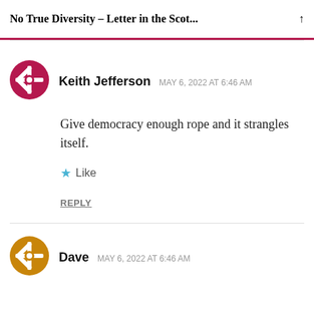No True Diversity – Letter in the Scot...
Keith Jefferson   MAY 6, 2022 AT 6:46 AM
Give democracy enough rope and it strangles itself.
Like
REPLY
Dave   MAY 6, 2022 AT 6:46 AM